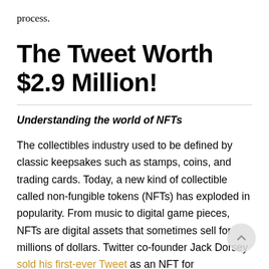process.
The Tweet Worth $2.9 Million!
Understanding the world of NFTs
The collectibles industry used to be defined by classic keepsakes such as stamps, coins, and trading cards. Today, a new kind of collectible called non-fungible tokens (NFTs) has exploded in popularity. From music to digital game pieces, NFTs are digital assets that sometimes sell for millions of dollars. Twitter co-founder Jack Dorsey sold his first-ever Tweet as an NFT for